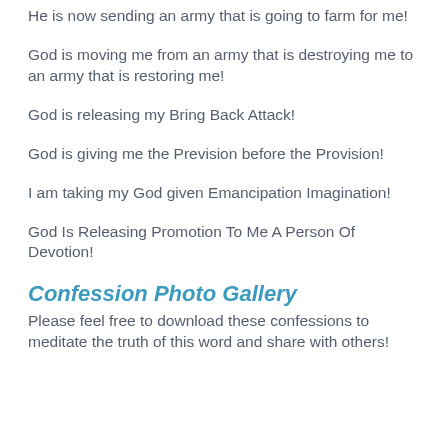He is now sending an army that is going to farm for me!
God is moving me from an army that is destroying me to an army that is restoring me!
God is releasing my Bring Back Attack!
God is giving me the Prevision before the Provision!
I am taking my God given Emancipation Imagination!
God Is Releasing Promotion To Me A Person Of Devotion!
Confession Photo Gallery
Please feel free to download these confessions to meditate the truth of this word and share with others!